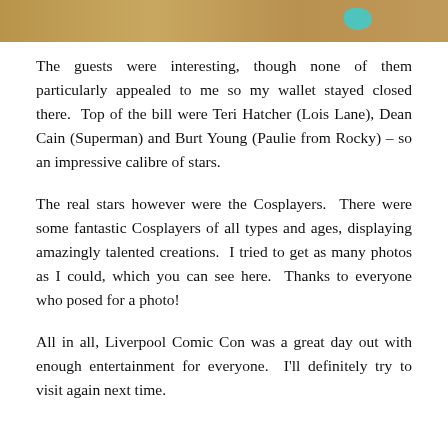[Figure (photo): Partial photograph at top of page showing sandy/brown tones with a teal colored element visible at upper right]
The guests were interesting, though none of them particularly appealed to me so my wallet stayed closed there.  Top of the bill were Teri Hatcher (Lois Lane), Dean Cain (Superman) and Burt Young (Paulie from Rocky) – so an impressive calibre of stars.
The real stars however were the Cosplayers.  There were some fantastic Cosplayers of all types and ages, displaying amazingly talented creations.  I tried to get as many photos as I could, which you can see here.  Thanks to everyone who posed for a photo!
All in all, Liverpool Comic Con was a great day out with enough entertainment for everyone.  I'll definitely try to visit again next time.